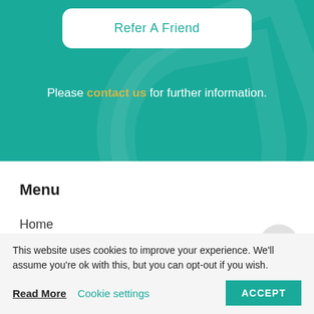Refer A Friend
Please contact us for further information.
Menu
Home
About
This website uses cookies to improve your experience. We'll assume you're ok with this, but you can opt-out if you wish.
Read More  Cookie settings  ACCEPT